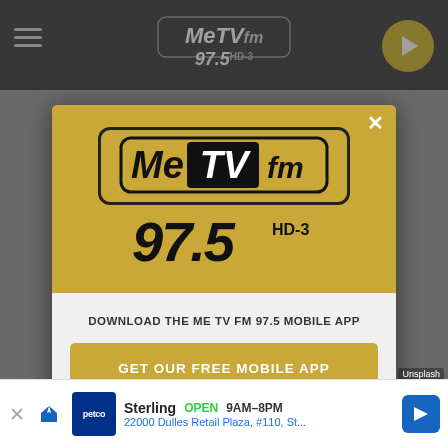[Figure (screenshot): MeTV FM 97.5 website header with hamburger menu and play button on dark background]
[Figure (logo): MeTV FM 97.5 HD-3 logo in gold modal popup with close button]
DOWNLOAD THE ME TV FM 97.5 MOBILE APP
GET OUR FREE MOBILE APP
Also listen on: amazon alexa
Sterling  OPEN  9AM–8PM  22000 Dulles Retail Plaza, #110, St...  Unsplash